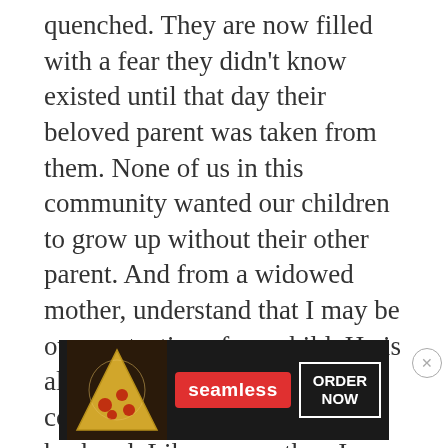quenched. They are now filled with a fear they didn't know existed until that day their beloved parent was taken from them. None of us in this community wanted our children to grow up without their other parent. And from a widowed mother, understand that I may be overprotective of my child. He is all I have in this world that connects me purely to my husband. Like any mother, I would do anything to protect my child. But my protectiveness comes from a place of knowing death at an all too real and up-close level, and it is terrifying.
[Figure (other): Seamless food delivery advertisement banner showing pizza image on left, red Seamless logo in center, and ORDER NOW button in white border on right, all on dark background]